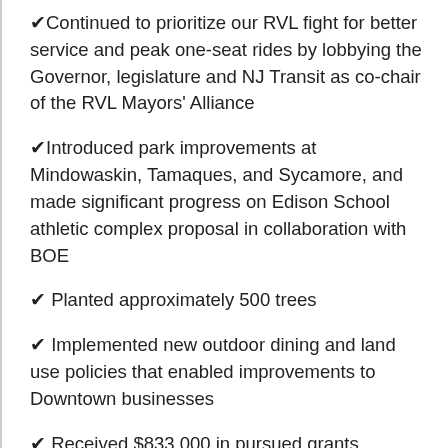✔ Continued to prioritize our RVL fight for better service and peak one-seat rides by lobbying the Governor, legislature and NJ Transit as co-chair of the RVL Mayors' Alliance
✔ Introduced park improvements at Mindowaskin, Tamaques, and Sycamore, and made significant progress on Edison School athletic complex proposal in collaboration with BOE
✔ Planted approximately 500 trees
✔ Implemented new outdoor dining and land use policies that enabled improvements to Downtown businesses
✔ Received $833,000 in pursued grants
✔ Commemorated Westfield's 300th anniversary with a variety of events funded by private donors and sponsors, including lectures, art displays, time capsule, architectural tours, the first African